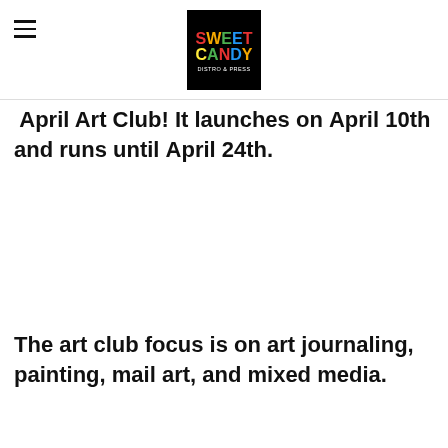Sweet Candy Distro & Press
April Art Club! It launches on April 10th and runs until April 24th.
The art club focus is on art journaling, painting, mail art, and mixed media.